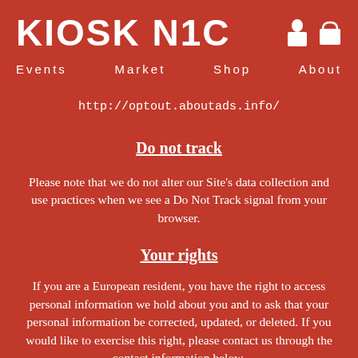KIOSK N1C
Events   Market   Shop   About
http://optout.aboutads.info/
Do not track
Please note that we do not alter our Site's data collection and use practices when we see a Do Not Track signal from your browser.
Your rights
If you are a European resident, you have the right to access personal information we hold about you and to ask that your personal information be corrected, updated, or deleted. If you would like to exercise this right, please contact us through the contact information below.